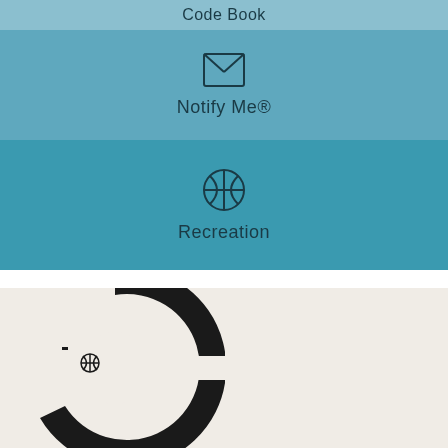Code Book
[Figure (illustration): Envelope/mail icon with label Notify Me®]
Notify Me®
[Figure (illustration): Basketball/recreation icon with label Recreation]
Recreation
[Figure (logo): Black circular C-shaped logo with lighthouse icon inside, on cream/off-white background]